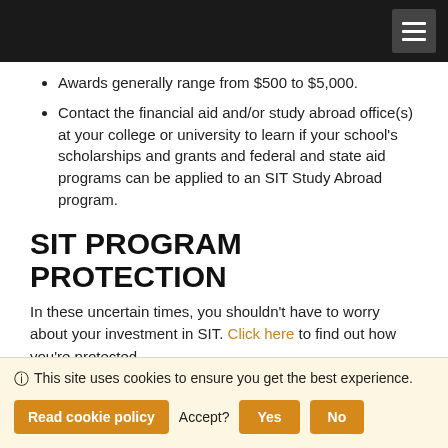Awards generally range from $500 to $5,000.
Contact the financial aid and/or study abroad office(s) at your college or university to learn if your school's scholarships and grants and federal and state aid programs can be applied to an SIT Study Abroad program.
SIT PROGRAM PROTECTION
In these uncertain times, you shouldn't have to worry about your investment in SIT. Click here to find out how you're protected.
CONTACT SIT STUDY ABROAD
Visit our website: studyabroad.sit.edu
Apply to SIT
This site uses cookies to ensure you get the best experience. Accept? Yes No Read cookie policy